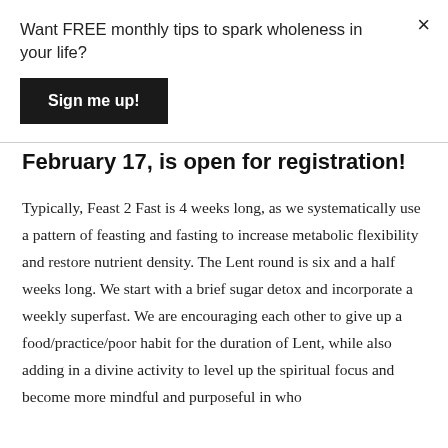Want FREE monthly tips to spark wholeness in your life?
Sign me up!
×
February 17, is open for registration!
Typically, Feast 2 Fast is 4 weeks long, as we systematically use a pattern of feasting and fasting to increase metabolic flexibility and restore nutrient density. The Lent round is six and a half weeks long. We start with a brief sugar detox and incorporate a weekly superfast. We are encouraging each other to give up a food/practice/poor habit for the duration of Lent, while also adding in a divine activity to level up the spiritual focus and become more mindful and purposeful in who